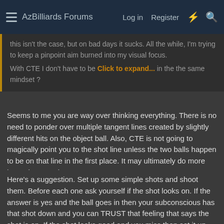AzBilliards Forums  Log in  Register
this isn't the case, but on bad days it sucks. All the while, I'm trying to keep a pinpoint aim burned into my visual focus.
With CTE I don't have to be [Click to expand...] in the the same mindset ?
Seems to me you are way over thinking everything. There is no need to ponder over multiple tangent lines created by slightly different hits on the object ball. Also, CTE is not going to magically point you to the shot line unless the two balls happen to be on that line in the first place. It may ultimately do more harm than good.
Here's a suggestion. Set up some simple shots and shoot them. Before each one ask yourself if the shot looks on. If the answer is yes and the ball goes in then your subconscious has that shot down and you can TRUST that feeling that says the shot is on. If the shot looks good and you miss then set it up over and over again until it looks on and actually goes in. If you do this for awhile you will begin to see that the little voice in your head can be trusted. This is the ultimate goal. Do not do this with difficult...